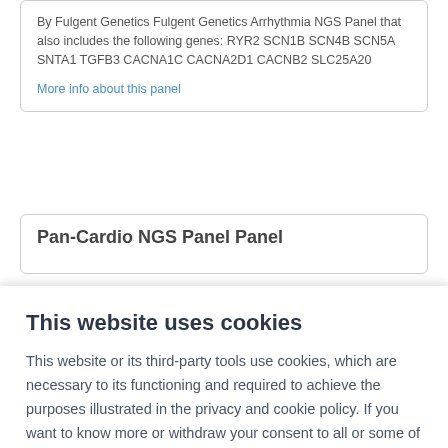By Fulgent Genetics Fulgent Genetics Arrhythmia NGS Panel that also includes the following genes: RYR2 SCN1B SCN4B SCN5A SNTA1 TGFB3 CACNA1C CACNA2D1 CACNB2 SLC25A20
More info about this panel
Pan-Cardio NGS Panel Panel
This website uses cookies
This website or its third-party tools use cookies, which are necessary to its functioning and required to achieve the purposes illustrated in the privacy and cookie policy. If you want to know more or withdraw your consent to all or some of the cookies, please click on Preferences.
Accept all
Preferences